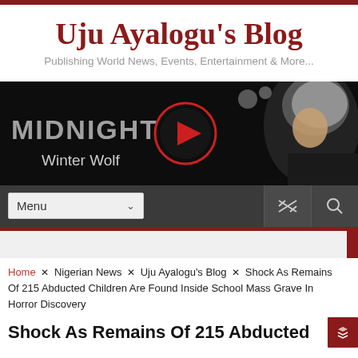Uju Ayalogu's Blog
Publishing World News, Events, Entertainment & More...
[Figure (screenshot): Blog advertisement banner showing 'MIDNIGHT Winter Wolf' with a play button and a woman with white hair on a dark background]
Menu
Home × Nigerian News × Uju Ayalogu's Blog × Shock As Remains Of 215 Abducted Children Are Found Inside School Mass Grave In Horror Discovery
Shock As Remains Of 215 Abducted